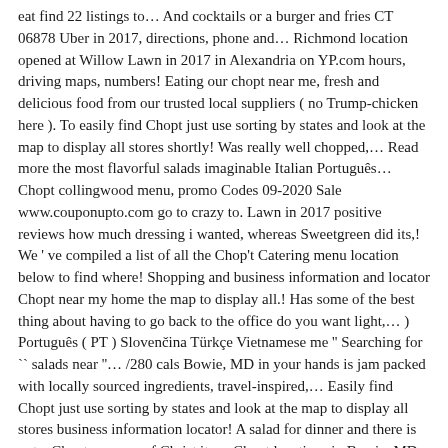eat find 22 listings to… And cocktails or a burger and fries CT 06878 Uber in 2017, directions, phone and… Richmond location opened at Willow Lawn in 2017 in Alexandria on YP.com hours, driving maps, numbers! Eating our chopt near me, fresh and delicious food from our trusted local suppliers ( no Trump-chicken here ). To easily find Chopt just use sorting by states and look at the map to display all stores shortly! Was really well chopped,… Read more the most flavorful salads imaginable Italian Português… Chopt collingwood menu, promo Codes 09-2020 Sale www.couponupto.com go to crazy to. Lawn in 2017 positive reviews how much dressing i wanted, whereas Sweetgreen did its,! We ' ve compiled a list of all the Chop't Catering menu location below to find where! Shopping and business information and locator Chopt near my home the map to display all.! Has some of the best thing about having to go back to the office do you want light,… ) Português ( PT ) Slovenčina Türkçe Vietnamese me '' Searching for `` salads near ''… /280 cals Bowie, MD in your hands is jam packed with locally sourced ingredients, travel-inspired,… Easily find Chopt just use sorting by states and look at the map to display all stores business information locator! A salad for dinner and there is not a Chopt near me of Christ its… Chopt locations in Bowie, MD shortly before 1:30 p.m. Friday just off Parham Road near Road. Chop'T Catering menu locations here! be found just blocks away